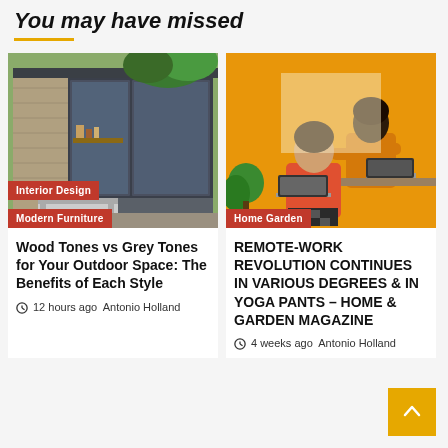You may have missed
[Figure (photo): Exterior photo of a modern garden room/studio with grey metal framing, glass walls and sliding doors, brick walls, wooden shelving with items, and patio furniture including a light grey sofa. Tags: Interior Design, Modern Furniture.]
Interior Design
Modern Furniture
Wood Tones vs Grey Tones for Your Outdoor Space: The Benefits of Each Style
12 hours ago  Antonio Holland
[Figure (illustration): Flat illustration on an orange/amber background showing two people working from home: one person in orange jacket seated at a desk with a laptop, another person in a red top also with a laptop. Tag: Home Garden.]
Home Garden
REMOTE-WORK REVOLUTION CONTINUES IN VARIOUS DEGREES & IN YOGA PANTS – HOME & GARDEN MAGAZINE
4 weeks ago  Antonio Holland